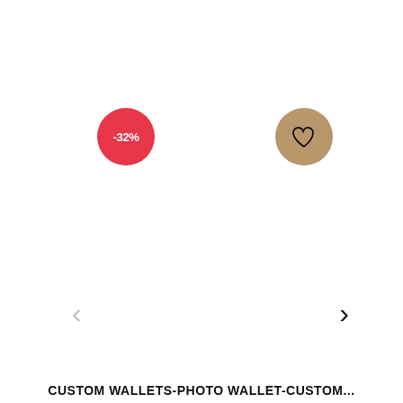[Figure (screenshot): Product listing screenshot showing a white background product image area with a red discount badge showing -32%, a tan/gold circular wishlist button with a heart icon, left and right navigation arrows, and a product title at the bottom.]
CUSTOM WALLETS-PHOTO WALLET-CUSTOM...